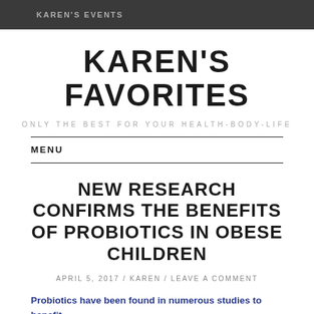KAREN'S EVENTS
KAREN'S FAVORITES
ONLY THE BEST FOR YOUR HEALTH-BODY-LIFE
MENU
NEW RESEARCH CONFIRMS THE BENEFITS OF PROBIOTICS IN OBESE CHILDREN
APRIL 5, 2017 / KAREN / LEAVE A COMMENT
Probiotics have been found in numerous studies to benefit